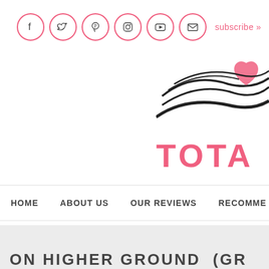Social icons: Facebook, Twitter, Pinterest, Instagram, YouTube, Email | subscribe »
[Figure (logo): Partial logo with swooping black lines and a pink heart shape, with large pink bold text 'TOTA' (truncated)]
HOME   ABOUT US   OUR REVIEWS   RECOMME...
ON HIGHER GROUND (Gr...